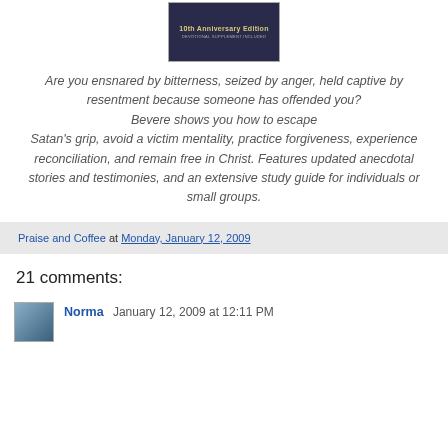[Figure (illustration): Book cover thumbnail showing '10th Anniversary Edition' text on dark background]
Are you ensnared by bitterness, seized by anger, held captive by resentment because someone has offended you? Bevere shows you how to escape Satan's grip, avoid a victim mentality, practice forgiveness, experience reconciliation, and remain free in Christ. Features updated anecdotal stories and testimonies, and an extensive study guide for individuals or small groups.
Praise and Coffee at Monday, January 12, 2009
21 comments:
Norma  January 12, 2009 at 12:11 PM